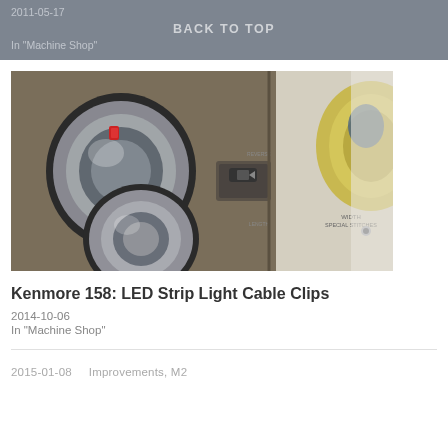2011-05-17
BACK TO TOP
In "Machine Shop"
[Figure (photo): Close-up photograph of a Kenmore 158 sewing machine showing chrome dials and controls on a brown/tan body with labels for width, special stitches, reverse, and length]
Kenmore 158: LED Strip Light Cable Clips
2014-10-06
In "Machine Shop"
2015-01-08     Improvements, M2